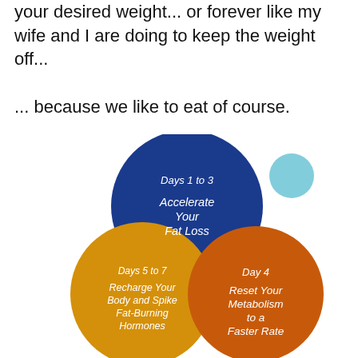your desired weight... or forever like my wife and I are doing to keep the weight off... ... because we like to eat of course.
[Figure (infographic): Three overlapping circles arranged in a triangular pattern. Top circle is dark blue labeled 'Days 1 to 3 / Accelerate Your Fat Loss'. Bottom-left circle is golden/yellow labeled 'Days 5 to 7 / Recharge Your Body and Spike Fat-Burning Hormones'. Bottom-right circle is orange labeled 'Day 4 / Reset Your Metabolism to a Faster Rate'.]